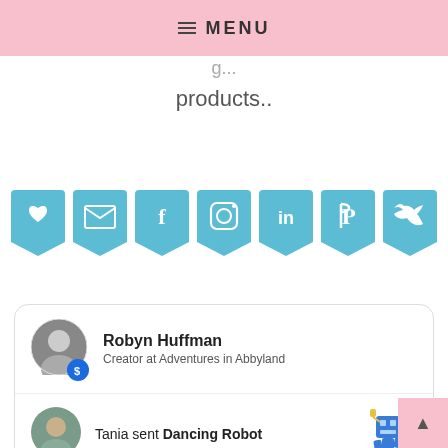MENU
products..
[Figure (infographic): Row of 7 teal bookmark-shaped social media icons: heart, email, Facebook, Instagram, LinkedIn, Pinterest, Twitter]
[Figure (screenshot): Card showing profile: Robyn Huffman, Creator at Adventures in Abbyland with dollar badge]
Tania sent Dancing Robot
Jennifer sent Balloons - Disn...
[Figure (infographic): Blue Thank the creator pill button overlay]